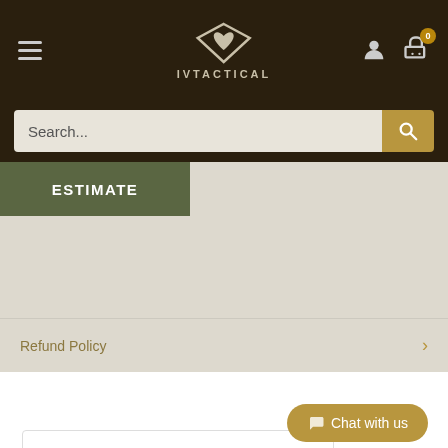IVTACTICAL navigation header with hamburger menu, logo, user icon, and cart (0)
Search...
ESTIMATE
Refund Policy
YOU MAY ALSO LIKE
Chat with us